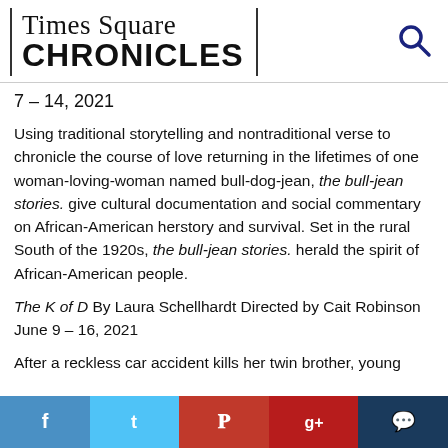Times Square CHRONICLES
7 – 14, 2021
Using traditional storytelling and nontraditional verse to chronicle the course of love returning in the lifetimes of one woman-loving-woman named bull-dog-jean, the bull-jean stories. give cultural documentation and social commentary on African-American herstory and survival. Set in the rural South of the 1920s, the bull-jean stories. herald the spirit of African-American people.
The K of D By Laura Schellhardt Directed by Cait Robinson June 9 – 16, 2021
After a reckless car accident kills her twin brother, young